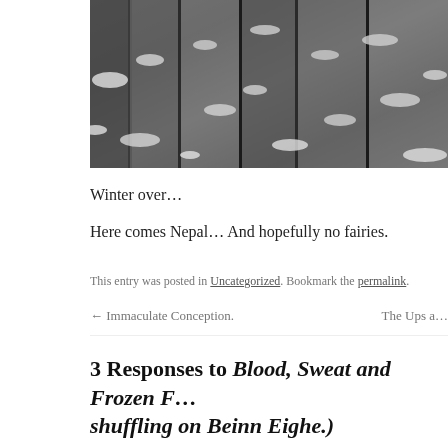[Figure (photo): Close-up photograph of dark rocky cliff face with patches of snow and ice between the rock crevices, taken in winter conditions.]
Winter over…
Here comes Nepal… And hopefully no fairies.
This entry was posted in Uncategorized. Bookmark the permalink.
← Immaculate Conception.    The Ups a…
3 Responses to Blood, Sweat and Frozen F… shuffling on Beinn Eighe.)